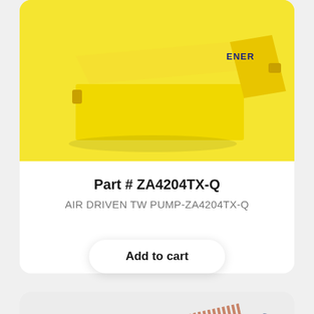[Figure (photo): Yellow air driven pump with ENERPAC-style branding, top portion of product card]
Part # ZA4204TX-Q
AIR DRIVEN TW PUMP-ZA4204TX-Q
Add to cart
[Figure (photo): Blue rectangular air filter product with copper/orange fins on top and bottom, partially visible in second product card]